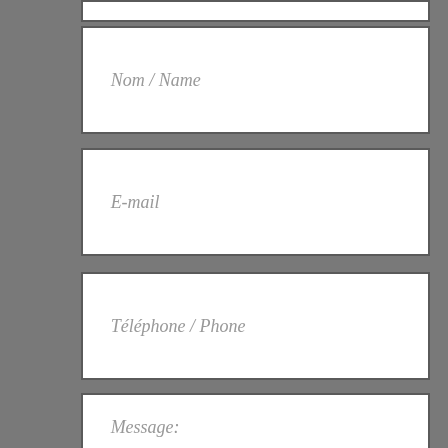[Figure (screenshot): A web contact form UI showing input fields for Nom/Name, E-mail, Téléphone/Phone, Message, an upload button (teal with chevron), and an Envoyer (Send) button on a grey background.]
Nom / Name
E-mail
Téléphone / Phone
Message:
Envoyer